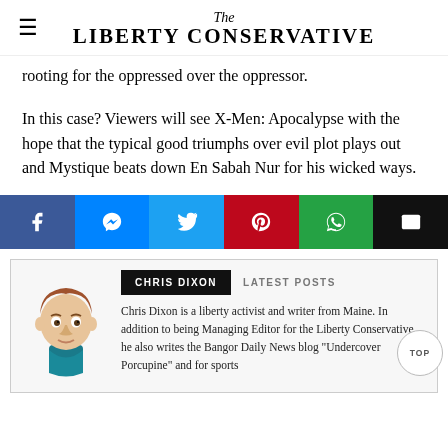The Liberty Conservative
rooting for the oppressed over the oppressor.
In this case? Viewers will see X-Men: Apocalypse with the hope that the typical good triumphs over evil plot plays out and Mystique beats down En Sabah Nur for his wicked ways.
[Figure (infographic): Social share buttons: Facebook, Messenger, Twitter, Pinterest, WhatsApp, Email]
[Figure (infographic): Author box with avatar illustration of Chris Dixon. Tabs: CHRIS DIXON (active, black background) and LATEST POSTS. Bio text: Chris Dixon is a liberty activist and writer from Maine. In addition to being Managing Editor for the Liberty Conservative, he also writes the Bangor Daily News blog "Undercover Porcupine" and for sports]